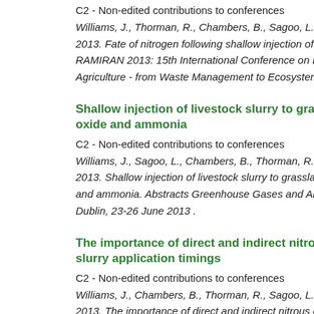C2 - Non-edited contributions to conferences
Williams, J., Thorman, R., Chambers, B., Sagoo, L., Misselbro... 2013. Fate of nitrogen following shallow injection of livestock... RAMIRAN 2013: 15th International Conference on Recycling o... Agriculture - from Waste Management to Ecosystem Services,...
Shallow injection of livestock slurry to grassland: effects... oxide and ammonia
C2 - Non-edited contributions to conferences
Williams, J., Sagoo, L., Chambers, B., Thorman, R., Misselbro... 2013. Shallow injection of livestock slurry to grassland: effects... and ammonia. Abstracts Greenhouse Gases and Animal Agricu... Dublin, 23-26 June 2013 .
The importance of direct and indirect nitrous oxide emis... slurry application timings
C2 - Non-edited contributions to conferences
Williams, J., Chambers, B., Thorman, R., Sagoo, L., Chadwick,... 2013. The importance of direct and indirect nitrous oxide emi... slurry application timings. Abstracts Greenhouse Gases and Ar...